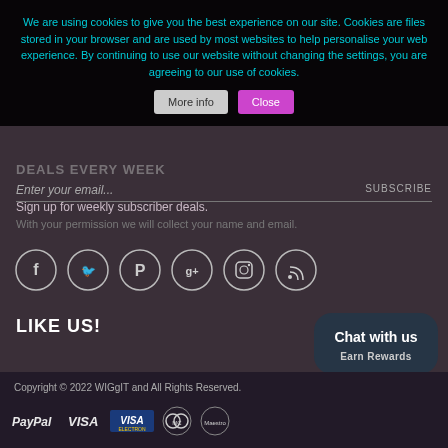We are using cookies to give you the best experience on our site. Cookies are files stored in your browser and are used by most websites to help personalise your web experience. By continuing to use our website without changing the settings, you are agreeing to our use of cookies.  [More info] [Close]
DEALS EVERY WEEK
Enter your email...
Sign up for weekly subscriber deals.
With your permission we will collect your name and email.
[Figure (other): Six social media icon circles: Facebook (f), Twitter (bird), Pinterest (P), Google+ (g+), Instagram (camera), RSS (feed)]
LIKE US!
Copyright © 2022 WIGgIT and All Rights Reserved.
[Figure (other): Payment method logos: PayPal, VISA, VISA (Electron), MasterCard circle, Maestro circle]
Chat with us
Earn Rewards